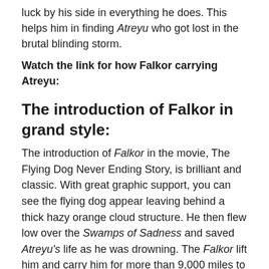luck by his side in everything he does. This helps him in finding Atreyu who got lost in the brutal blinding storm.
Watch the link for how Falkor carrying Atreyu:
The introduction of Falkor in grand style:
The introduction of Falkor in the movie, The Flying Dog Never Ending Story, is brilliant and classic. With great graphic support, you can see the flying dog appear leaving behind a thick hazy orange cloud structure. He then flew low over the Swamps of Sadness and saved Atreyu's life as he was drowning. The Falkor lift him and carry him for more than 9,000 miles to his place and rescue mission was a thrilling frame of the movie.